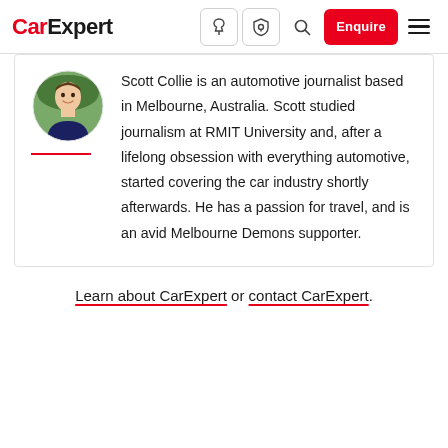CarExpert — navigation header with logo, icons, Enquire button, and hamburger menu
[Figure (photo): Circular profile photo of Scott Collie, a young man smiling, wearing a dark navy t-shirt, photographed outdoors with green foliage in background]
Scott Collie is an automotive journalist based in Melbourne, Australia. Scott studied journalism at RMIT University and, after a lifelong obsession with everything automotive, started covering the car industry shortly afterwards. He has a passion for travel, and is an avid Melbourne Demons supporter.
Learn about CarExpert or contact CarExpert.